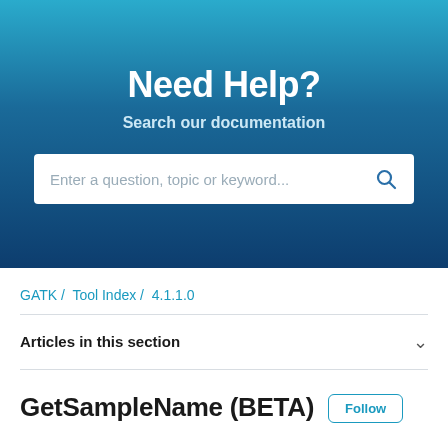Need Help?
Search our documentation
[Figure (screenshot): Search input bar with placeholder text 'Enter a question, topic or keyword...' and a search icon on the right]
GATK / Tool Index / 4.1.1.0
Articles in this section
GetSampleName (BETA)
Follow